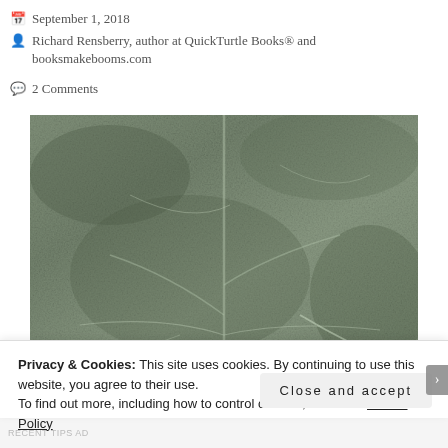September 1, 2018
Richard Rensberry, author at QuickTurtle Books® and booksmakebooms.com
2 Comments
[Figure (photo): Close-up grayscale photo of a textured leaf surface showing veins and patterns]
Privacy & Cookies: This site uses cookies. By continuing to use this website, you agree to their use.
To find out more, including how to control cookies, see here: Cookie Policy
Close and accept